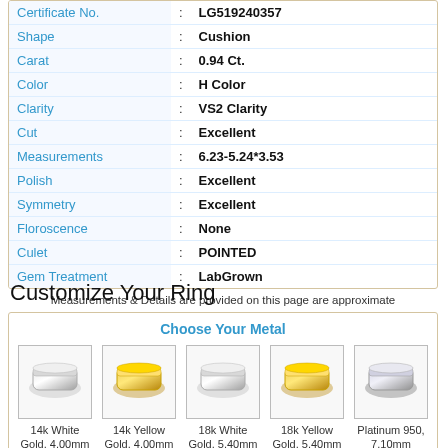| Property | : | Value |
| --- | --- | --- |
| Certificate No. | : | LG519240357 |
| Shape | : | Cushion |
| Carat | : | 0.94 Ct. |
| Color | : | H Color |
| Clarity | : | VS2 Clarity |
| Cut | : | Excellent |
| Measurements | : | 6.23-5.24*3.53 |
| Polish | : | Excellent |
| Symmetry | : | Excellent |
| Floroscence | : | None |
| Culet | : | POINTED |
| Gem Treatment | : | LabGrown |
Measurements & Details are provided on this page are approximate
Customize Your Ring
Choose Your Metal
[Figure (photo): Five metal ring band options: 14k White Gold, 14k Yellow Gold, 18k White Gold, 18k Yellow Gold, Platinum 950]
14k White Gold, 4.00mm  14k Yellow Gold, 4.00mm  18k White Gold, 5.40mm  18k Yellow Gold, 5.40mm  Platinum 950, 7.10mm